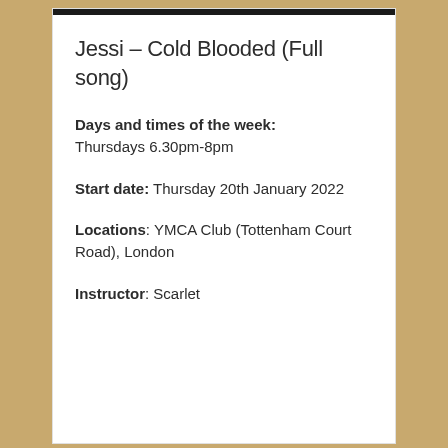Jessi – Cold Blooded (Full song)
Days and times of the week: Thursdays 6.30pm-8pm
Start date: Thursday 20th January 2022
Locations: YMCA Club (Tottenham Court Road), London
Instructor: Scarlet